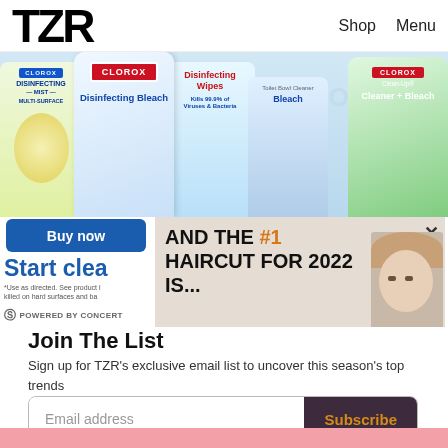TZR  Shop  Menu
[Figure (photo): Advertisement banner showing multiple Clorox cleaning products including Disinfecting Mist Multi-Surface, Disinfecting Bleach, Disinfecting Wipes (Kills 99.9% of Viruses & Bacteria), Toilet Bowl Cleaner Bleach, and Clean-Up Cleaner + Bleach, all against a blue background with faded CLOROX text.]
[Figure (photo): Buy now button (blue rounded rectangle) for Clorox ad with 'Start clea[ning]' text in blue and fine print disclaimer. Powered by Concert logo at bottom left.]
[Figure (photo): Article preview showing text 'AND THE #1 HAIRCUT FOR 2022 IS...' with a woman's face photo on the right and a close X button.]
Join The List
Sign up for TZR's exclusive email list to uncover this season's top trends
Email address  Subscribe